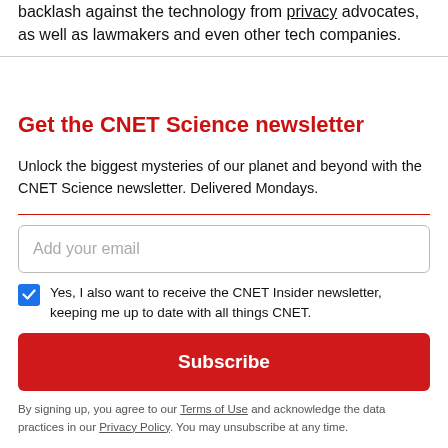backlash against the technology from privacy advocates, as well as lawmakers and even other tech companies.
Get the CNET Science newsletter
Unlock the biggest mysteries of our planet and beyond with the CNET Science newsletter. Delivered Mondays.
Add your email
Yes, I also want to receive the CNET Insider newsletter, keeping me up to date with all things CNET.
Subscribe
By signing up, you agree to our Terms of Use and acknowledge the data practices in our Privacy Policy. You may unsubscribe at any time.